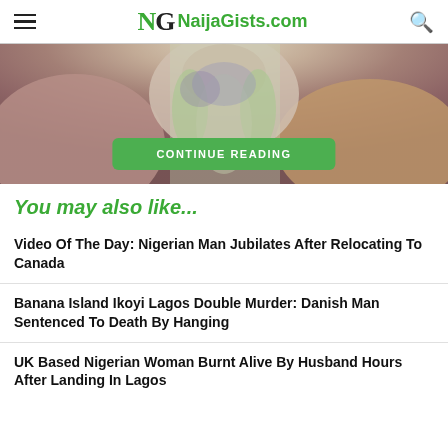NaijaGists.com
[Figure (photo): Partial view of a person wearing a light green tank top, with visible neck and shoulders, appearing to show bruising or discoloration on skin.]
CONTINUE READING
You may also like...
Video Of The Day: Nigerian Man Jubilates After Relocating To Canada
Banana Island Ikoyi Lagos Double Murder: Danish Man Sentenced To Death By Hanging
UK Based Nigerian Woman Burnt Alive By Husband Hours After Landing In Lagos